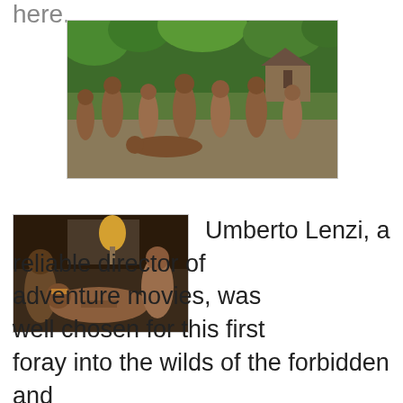here.
[Figure (photo): A group of indigenous tribal people gathered together in a jungle setting, appearing to be from a film scene.]
[Figure (photo): A film scene showing people in an indoor setting, appearing to be from an adventure movie.]
Umberto Lenzi, a reliable director of adventure movies, was well chosen for this first foray into the wilds of the forbidden and mysterious jungles seen in so many of the most notorious of this uncompromising sub genre. Lenzi's movie, while being a reworking of the Elliot Silverstein movie, A MAN CALLED HORSE, contains several elements that would